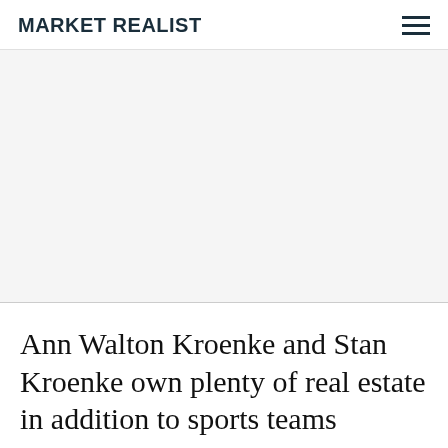MARKET REALIST
[Figure (other): Advertisement or placeholder image area, light gray background]
Ann Walton Kroenke and Stan Kroenke own plenty of real estate in addition to sports teams